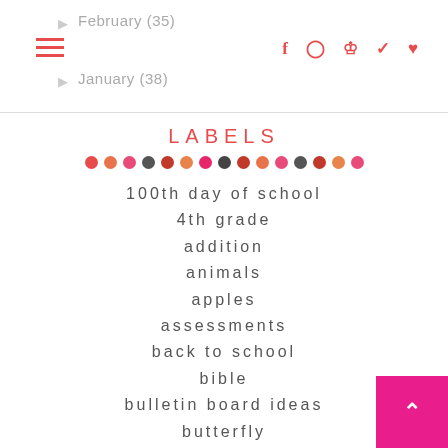February (35)
January (38)
LABELS
100th day of school
4th grade
addition
animals
apples
assessments
back to school
bible
bulletin board ideas
butterfly
christmas
cinco de mayo
classroom management
classroom organization
community helpers